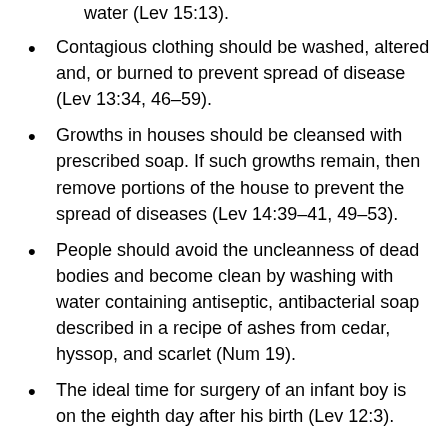water (Lev 15:13).
Contagious clothing should be washed, altered and, or burned to prevent spread of disease (Lev 13:34, 46–59).
Growths in houses should be cleansed with prescribed soap. If such growths remain, then remove portions of the house to prevent the spread of diseases (Lev 14:39–41, 49–53).
People should avoid the uncleanness of dead bodies and become clean by washing with water containing antiseptic, antibacterial soap described in a recipe of ashes from cedar, hyssop, and scarlet (Num 19).
The ideal time for surgery of an infant boy is on the eighth day after his birth (Lev 12:3).